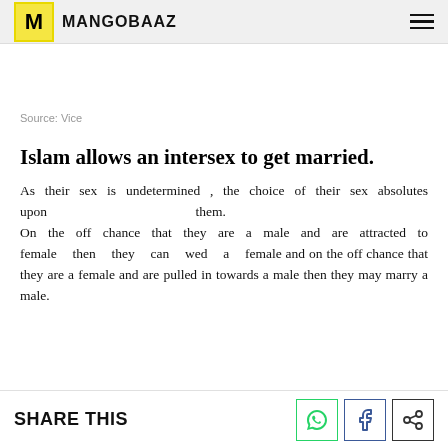MANGOBAAZ
Source: Vice
Islam allows an intersex to get married.
As their sex is undetermined , the choice of their sex absolves upon them. On the off chance that they are a male and are attracted to female then they can wed a female and on the off chance that they are a female and are pulled in towards a male then they may marry a male.
SHARE THIS